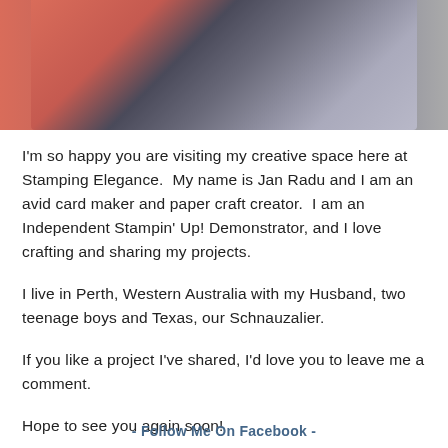[Figure (photo): Partial photo showing coral/salmon colored object on left and dark gray fluffy animal fur on right, cropped at top of page]
I'm so happy you are visiting my creative space here at Stamping Elegance.  My name is Jan Radu and I am an avid card maker and paper craft creator.  I am an Independent Stampin' Up! Demonstrator, and I love crafting and sharing my projects.
I live in Perth, Western Australia with my Husband, two teenage boys and Texas, our Schnauzalier.
If you like a project I've shared, I'd love you to leave me a comment.
Hope to see you again soon!
- Follow Me On Facebook -